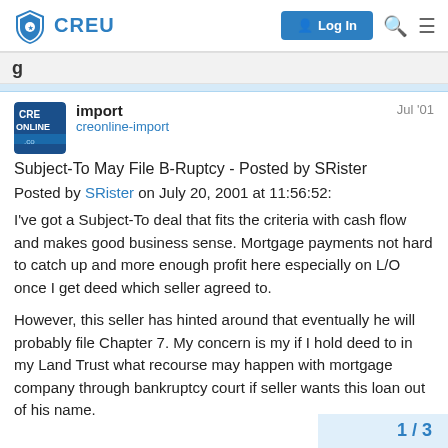CREU — Log In
Subject-To May File B-Ruptcy - Posted by SRister
Posted by SRister on July 20, 2001 at 11:56:52:
I've got a Subject-To deal that fits the criteria with cash flow and makes good business sense. Mortgage payments not hard to catch up and more enough profit here especially on L/O once I get deed which seller agreed to.
However, this seller has hinted around that eventually he will probably file Chapter 7. My concern is my if I hold deed to in my Land Trust what recourse may happen with mortgage company through bankruptcy court if seller wants this loan out of his name.
1 / 3